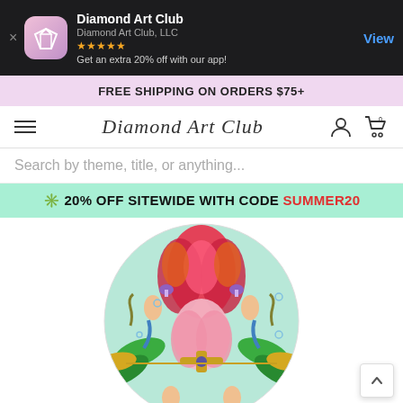[Figure (screenshot): App store banner for Diamond Art Club app with dark background, app icon (diamond on pink/purple gradient), 5-star rating, and View button]
FREE SHIPPING ON ORDERS $75+
[Figure (logo): Diamond Art Club cursive logo with hamburger menu, account icon, and cart icon (0 items)]
Search by theme, title, or anything...
✳️ 20% OFF SITEWIDE WITH CODE SUMMER20
[Figure (illustration): Circular mandala-style diamond art image featuring mermaids, flowers, sea creatures, colorful decorative symmetrical design]